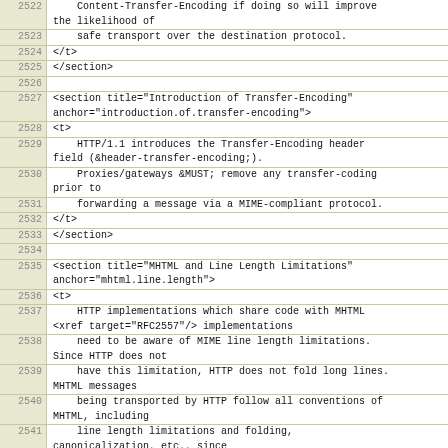| line | code |
| --- | --- |
| 2522 |     Content-Transfer-Encoding if doing so will improve the likelihood of |
| 2523 |     safe transport over the destination protocol. |
| 2524 | </t> |
| 2525 | </section> |
| 2526 |  |
| 2527 | <section title="Introduction of Transfer-Encoding" anchor="introduction.of.transfer-encoding"> |
| 2528 | <t> |
| 2529 |     HTTP/1.1 introduces the Transfer-Encoding header field (&header-transfer-encoding;). |
| 2530 |     Proxies/gateways &MUST; remove any transfer-coding prior to |
| 2531 |     forwarding a message via a MIME-compliant protocol. |
| 2532 | </t> |
| 2533 | </section> |
| 2534 |  |
| 2535 | <section title="MHTML and Line Length Limitations" anchor="mhtml.line.length"> |
| 2536 | <t> |
| 2537 |     HTTP implementations which share code with MHTML <xref target="RFC2557"/> implementations |
| 2538 |     need to be aware of MIME line length limitations. Since HTTP does not |
| 2539 |     have this limitation, HTTP does not fold long lines. MHTML messages |
| 2540 |     being transported by HTTP follow all conventions of MHTML, including |
| 2541 |     line length limitations and folding, canonicalization, etc., since |
| 2542 |     HTTP transports all message-bodies as payload (see <xref target="multipart.types"/>) and |
| 2543 |     does not interpret the content or any MIME header lines that might be |
| 2544 |     contained therein |